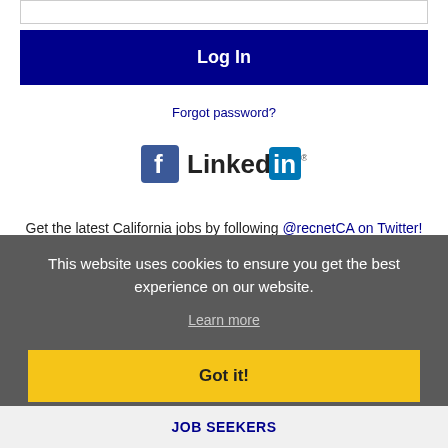[Figure (screenshot): Input field (text box) at the top of a login form]
[Figure (screenshot): Dark navy blue Log In button]
Forgot password?
[Figure (logo): Facebook logo icon and LinkedIn logo side by side]
Get the latest California jobs by following @recnetCA on Twitter!
Azusa RSS job feeds
This website uses cookies to ensure you get the best experience on our website.
Learn more
Got it!
JOB SEEKERS